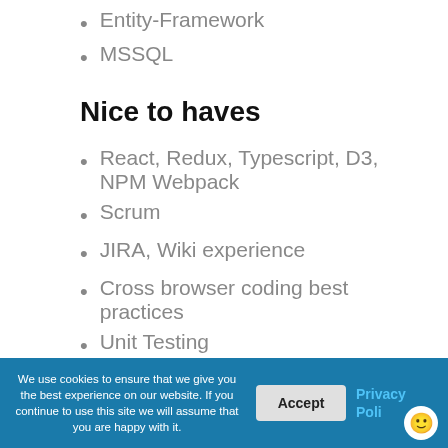Entity-Framework
MSSQL
Nice to haves
React, Redux, Typescript, D3, NPM Webpack
Scrum
JIRA, Wiki experience
Cross browser coding best practices
Unit Testing
HTML5, CSS
We use cookies to ensure that we give you the best experience on our website. If you continue to use this site we will assume that you are happy with it.